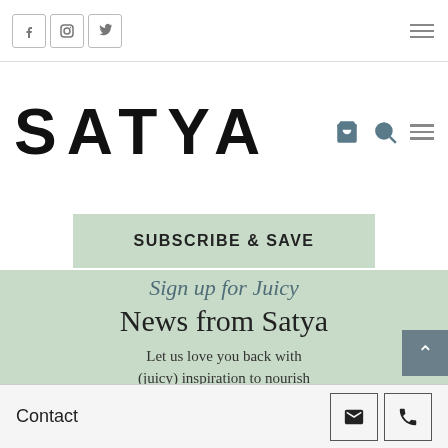Social icons: Facebook, Instagram, Twitter; Hamburger menu
SATYA
SUBSCRIBE & SAVE
Sign up for Juicy News from Satya
Let us love you back with (juicy) inspiration to nourish your body and your mind. No spam, just truth.
Contact